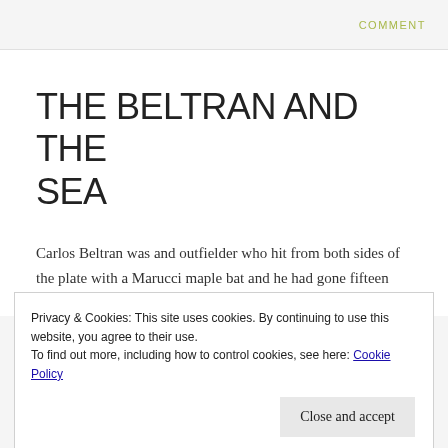COMMENT
THE BELTRAN AND THE SEA
Carlos Beltran was and outfielder who hit from both sides of the plate with a Marucci maple bat and he had gone fifteen years now without taking a ring. This was
Privacy & Cookies: This site uses cookies. By continuing to use this website, you agree to their use.
To find out more, including how to control cookies, see here: Cookie Policy
Close and accept